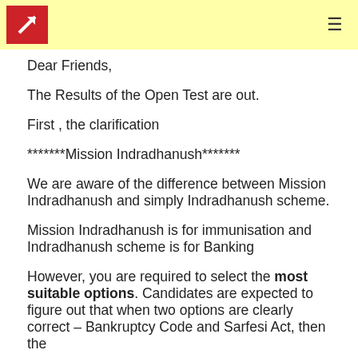[Logo: red square with white arrow] [hamburger menu icon]
Dear Friends,
The Results of the Open Test are out.
First , the clarification
*******Mission Indradhanush*******
We are aware of the difference between Mission Indradhanush and simply Indradhanush scheme.
Mission Indradhanush is for immunisation and Indradhanush scheme is for Banking
However, you are required to select the most suitable options. Candidates are expected to figure out that when two options are clearly correct – Bankruptcy Code and Sarfesi Act, then the